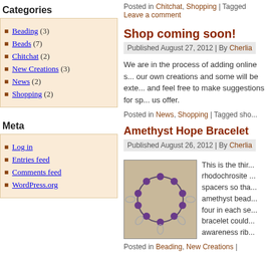Posted in Chitchat, Shopping | Tagged ... Leave a comment
Categories
Beading (3)
Beads (7)
Chitchat (2)
New Creations (3)
News (2)
Shopping (2)
Meta
Log in
Entries feed
Comments feed
WordPress.org
Shop coming soon!
Published August 27, 2012 | By Cherlia
We are in the process of adding online s... our own creations and some will be exte... and feel free to make suggestions for sp... us offer.
Posted in News, Shopping | Tagged sho...
Amethyst Hope Bracelet
Published August 26, 2012 | By Cherlia
[Figure (photo): Photo of an amethyst bracelet with silver ribbon charms on a beige background]
This is the thir... rhodochrosite ... spacers so tha... amethyst bead... four in each se... bracelet could... awareness rib...
Posted in Beading, New Creations |